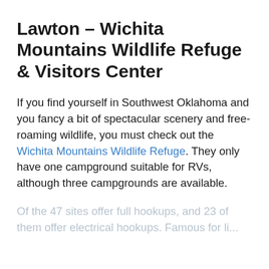Lawton – Wichita Mountains Wildlife Refuge & Visitors Center
If you find yourself in Southwest Oklahoma and you fancy a bit of spectacular scenery and free-roaming wildlife, you must check out the Wichita Mountains Wildlife Refuge. They only have one campground suitable for RVs, although three campgrounds are available.
Of the 47 sites offer full hookups, and 23 of them offer electrical hookups. Famous for li...